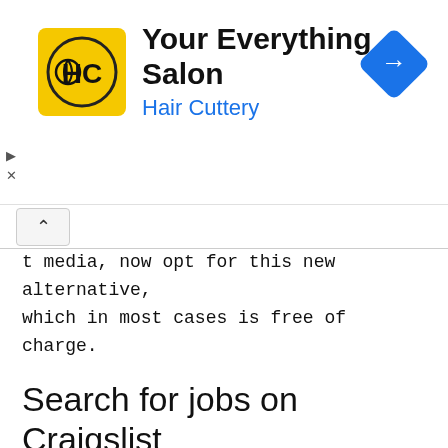[Figure (advertisement): Hair Cuttery advertisement banner with yellow logo showing 'HC', title 'Your Everything Salon', subtitle 'Hair Cuttery' in blue, and a blue diamond-shaped navigation arrow icon on the right.]
...t media, now opt for this new alternative, which in most cases is free of charge.
Search for jobs on Craigslist portals
Craigslist portals are characterized by very specific job offers. Do not expect to find on Craigslistt.us job offers for bank manager, just as it is very likely that if you are looking for a job as a doctor you will not find a job offer on Craigslistt.us. What you will find on both portals will be hundreds of offers to work as a waiter,